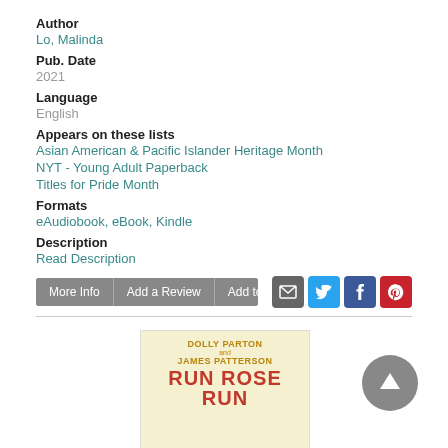Author
Lo, Malinda
Pub. Date
2021
Language
English
Appears on these lists
Asian American & Pacific Islander Heritage Month
NYT - Young Adult Paperback
Titles for Pride Month
Formats
eAudiobook, eBook, Kindle
Description
Read Description
[Figure (illustration): Book cover for 'Run Rose Run' by Dolly Parton and James Patterson, with red title text on a light background]
[Figure (other): Gray circular up-arrow button]